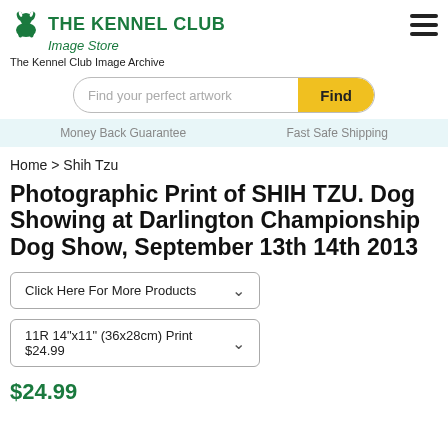THE KENNEL CLUB Image Store
The Kennel Club Image Archive
Find your perfect artwork  Find
Money Back Guarantee    Fast Safe Shipping
Home > Shih Tzu
Photographic Print of SHIH TZU. Dog Showing at Darlington Championship Dog Show, September 13th 14th 2013
Click Here For More Products
11R 14"x11" (36x28cm) Print $24.99
$24.99